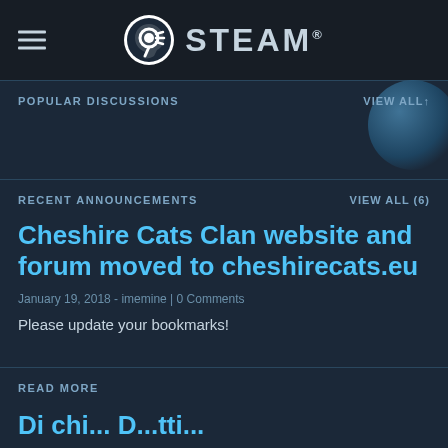STEAM
POPULAR DISCUSSIONS
VIEW ALL↑
RECENT ANNOUNCEMENTS
VIEW ALL (6)
Cheshire Cats Clan website and forum moved to cheshirecats.eu
January 19, 2018 - imemine | 0 Comments
Please update your bookmarks!
READ MORE